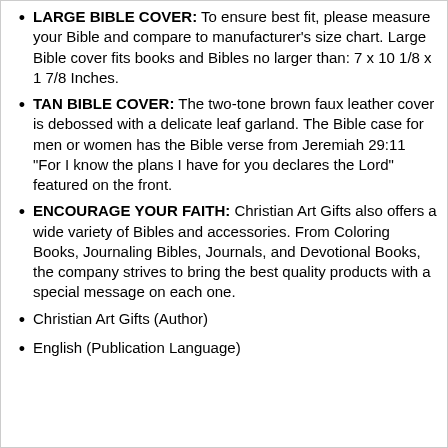LARGE BIBLE COVER: To ensure best fit, please measure your Bible and compare to manufacturer's size chart. Large Bible cover fits books and Bibles no larger than: 7 x 10 1/8 x 1 7/8 Inches.
TAN BIBLE COVER: The two-tone brown faux leather cover is debossed with a delicate leaf garland. The Bible case for men or women has the Bible verse from Jeremiah 29:11 "For I know the plans I have for you declares the Lord" featured on the front.
ENCOURAGE YOUR FAITH: Christian Art Gifts also offers a wide variety of Bibles and accessories. From Coloring Books, Journaling Bibles, Journals, and Devotional Books, the company strives to bring the best quality products with a special message on each one.
Christian Art Gifts (Author)
English (Publication Language)